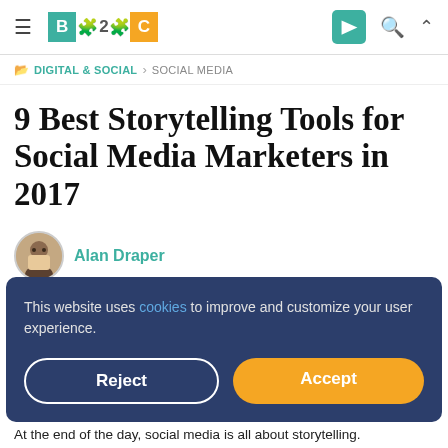B2C logo, hamburger menu, send icon, search icon, chevron icon
DIGITAL & SOCIAL › SOCIAL MEDIA
9 Best Storytelling Tools for Social Media Marketers in 2017
Alan Draper
This website uses cookies to improve and customize your user experience.
Reject
Accept
At the end of the day, social media is all about storytelling.